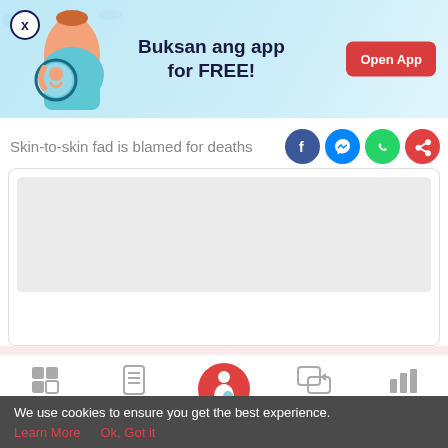[Figure (illustration): App advertisement banner with pregnancy illustration, 'Buksan ang app for FREE!' text and 'Open App' button]
Skin-to-skin fad is blamed for deaths
[Figure (screenshot): Gray placeholder content area, article body region]
[Figure (illustration): Pink background area with subtle pregnancy/baby decorative illustration]
[Figure (infographic): Bottom navigation bar with Tools, Articles, Home (pregnant woman icon), Feed, Poll]
We use cookies to ensure you get the best experience.
Learn More   Ok, Got it